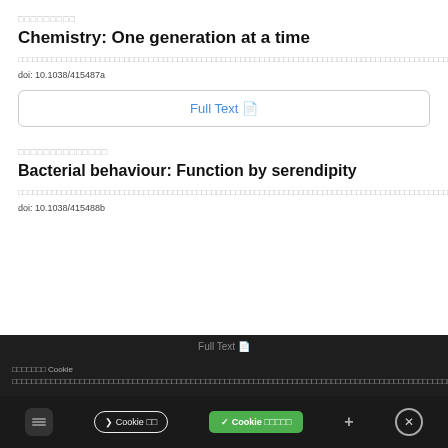□□□□□□□□□
Chemistry: One generation at a time
□□□□□□□□□□□□□□□□□□□□□□□□□□□□□□□□□□□□□□□□□□□□□□□□□□□□□□□□□□□□□□□□□□□□□□□□□□□□□□□□□□□□□□□□□□□□□□□□□□□□□□□□□□□□□□□□□□□□□□□□□□□□□□□□□□□□□□□□□□□□□□□□□□□□□□□□□□□□□□□□□□□□□□□□□□□□□
doi: 10.1038/415487a
Full Text
□□□□□□□□□□□□□□
Bacterial behaviour: Function by serendipity
□□□□□□□□□□□□□□□□□□□□□□□□□□□□□□□□□□□□□□□□□□□□□□□□□□□□□□□□□□□□□□□□□□□□□□□□□□□□□□□□□□□□□□□□□□□
doi: 10.1038/415488b
□□□□□□□ Cookie □□□□□□□□□□□□□□□□□□□□□□□□□□□□□□□□□□□□□□□□□□□□□□□□□□□□□□□□□□□□□□□□□□□□□□□□□□□□□□□□□□□□□□□□□□□□□□□□□□□□□□□□□□□□□□□□□□□□□□□□□□□□□□□□□□□□□□□□□□□□□□□□□□□□□□□□□□□□
❯ Cookie □□   ✓ Cookie □□□□□